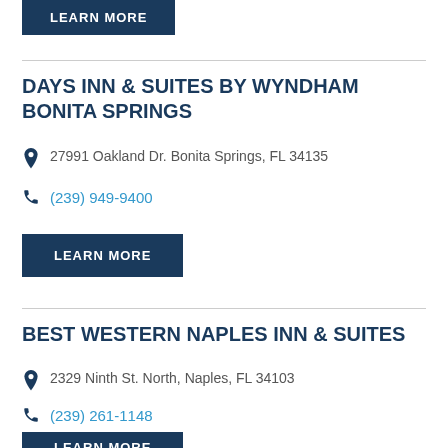LEARN MORE
DAYS INN & SUITES BY WYNDHAM BONITA SPRINGS
27991 Oakland Dr. Bonita Springs, FL 34135
(239) 949-9400
LEARN MORE
BEST WESTERN NAPLES INN & SUITES
2329 Ninth St. North, Naples, FL 34103
(239) 261-1148
LEARN MORE